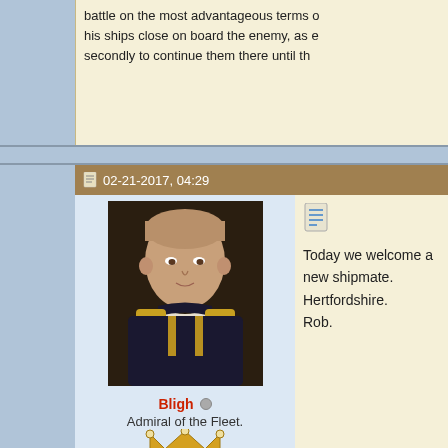battle on the most advantageous terms o his ships close on board the enemy, as e secondly to continue them there until th
02-21-2017, 04:29
[Figure (photo): Portrait painting of a naval officer in uniform with gold epaulettes]
Bligh
Admiral of the Fleet.
[Figure (illustration): Crown icon/rank badge]
[Figure (illustration): .UK flag badge]
Join Date: Nov 2011
Location: Notts
Log Entries: 21,335
[Figure (other): Document/post icon (blue lines)]
Today we welcome a new shipmate. Hertfordshire.
Rob.